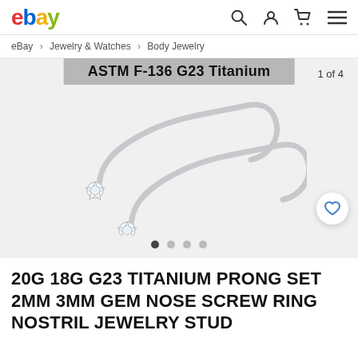ebay | Search | Account | Cart | Menu
eBay > Jewelry & Watches > Body Jewelry
[Figure (photo): Product image of two titanium nose screw studs with crystal gem ends, curved screw shape, silver colored. Label reads ASTM F-136 G23 Titanium. Counter shows 1 of 4.]
20G 18G G23 TITANIUM PRONG SET 2MM 3MM GEM NOSE SCREW RING NOSTRIL JEWELRY STUD